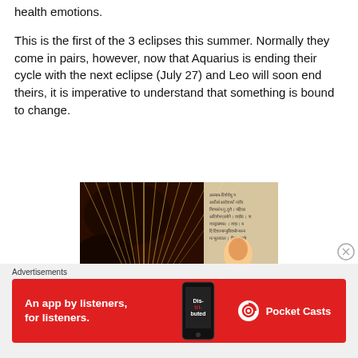health emotions.
This is the first of the 3 eclipses this summer. Normally they come in pairs, however, now that Aquarius is ending their cycle with the next eclipse (July 27) and Leo will soon end theirs, it is imperative to understand that something is bound to change.
[Figure (photo): A photo of an open book with Sanskrit text, lit by candlelight against a dark background]
Advertisements
[Figure (other): Advertisement banner for Pocket Casts: 'An app by listeners, for listeners.']